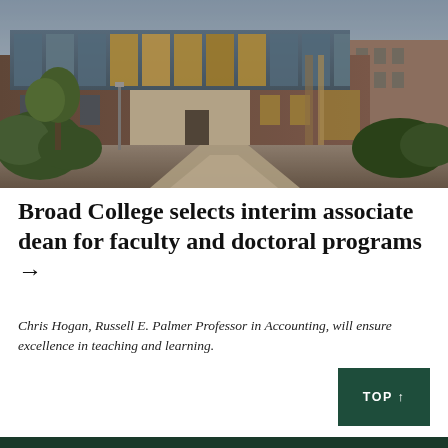[Figure (photo): Exterior photo of Broad College of Business building at dusk, showing modern brick and glass architecture with a walkway leading to the entrance, trees and greenery in the foreground, taken in twilight/evening light.]
Broad College selects interim associate dean for faculty and doctoral programs →
Chris Hogan, Russell E. Palmer Professor in Accounting, will ensure excellence in teaching and learning.